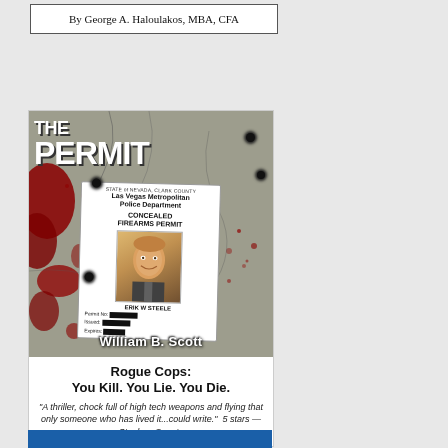By George A. Haloulakos, MBA, CFA
[Figure (illustration): Book cover for 'The Permit' by William B. Scott, showing a Las Vegas Metropolitan Police Department Concealed Firearms Permit for Erik W Steele against a cracked concrete background with blood splatters]
Rogue Cops: You Kill. You Lie. You Die.
"A thriller, chock full of high tech weapons and flying that only someone who has lived it...could write." 5 stars — Stephen Coonts